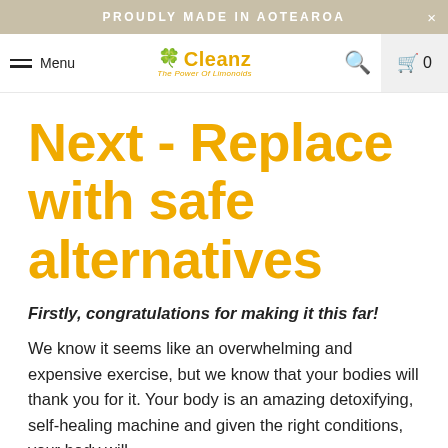PROUDLY MADE IN AOTEAROA
[Figure (logo): Cleanz brand logo with flower icon and tagline 'The Power Of Limonoids']
Next - Replace with safe alternatives
Firstly, congratulations for making it this far!
We know it seems like an overwhelming and expensive exercise, but we know that your bodies will thank you for it. Your body is an amazing detoxifying, self-healing machine and given the right conditions, your body will...